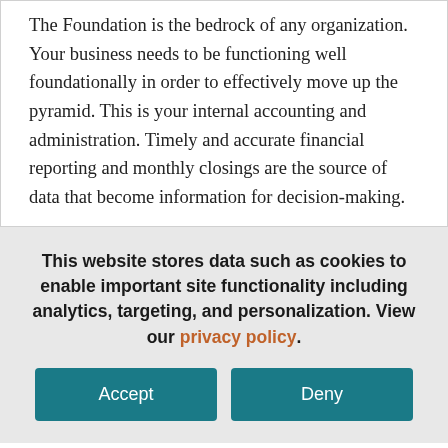The Foundation is the bedrock of any organization. Your business needs to be functioning well foundationally in order to effectively move up the pyramid. This is your internal accounting and administration. Timely and accurate financial reporting and monthly closings are the source of data that become information for decision-making.
This website stores data such as cookies to enable important site functionality including analytics, targeting, and personalization. View our privacy policy.